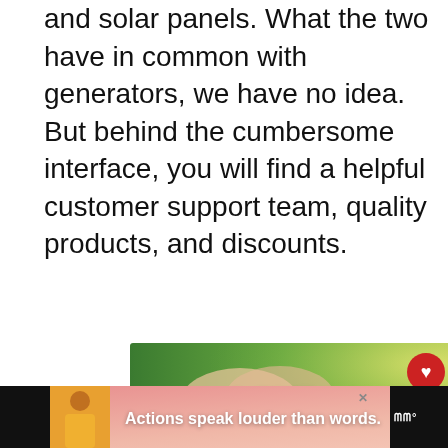and solar panels. What the two have in common with generators, we have no idea. But behind the cumbersome interface, you will find a helpful customer support team, quality products, and discounts.
[Figure (illustration): Advertisement banner with green nature background showing hands making a heart shape, with text 'LOVE > HATE' in bold white letters and a close button in the top right corner.]
[Figure (infographic): Social media interaction panel on the right side with a red heart button and share button, showing count of 2.]
[Figure (infographic): What's Next panel showing a generator photo thumbnail with label 'WHAT'S NEXT' and text '6 of the best generator...']
[Figure (illustration): Bottom advertisement banner with dark background, a person in yellow clothing, pink gradient with text 'Actions speak louder than words.' and a logo on the right.]